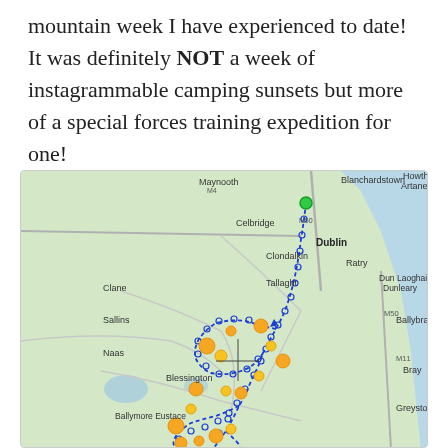mountain week I have experienced to date! It was definitely NOT a week of instagrammable camping sunsets but more of a special forces training expedition for one!
[Figure (map): A map showing the Dublin and Wicklow area of Ireland with a GPS route traced in blue dotted lines. The route starts near Dublin city centre and winds south through Tallaght, Blessington, and into the Wicklow mountains. Orange/yellow dots mark waypoints or campsites along the route. Place names visible include Maynooth, Blanchardstown, Artane, Howth, Celbridge, Clondalkin, Dublin, Dun Laoghaire, Dunleary, Clane, Tallaght, Ratty, Sallins, Naas, Ballybrack, Bray, Blessington, Ballymore Eustace, Greystones.]